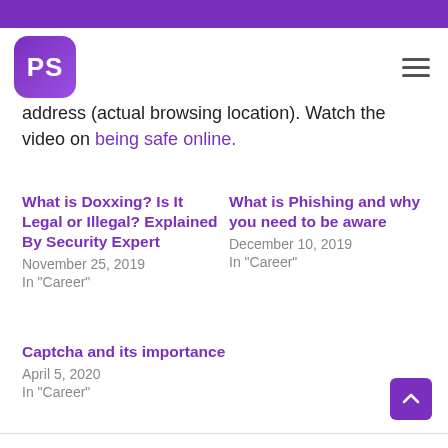PS
address (actual browsing location). Watch the video on being safe online.
What is Doxxing? Is It Legal or Illegal? Explained By Security Expert
November 25, 2019
In "Career"
What is Phishing and why you need to be aware
December 10, 2019
In "Career"
Captcha and its importance
April 5, 2020
In "Career"